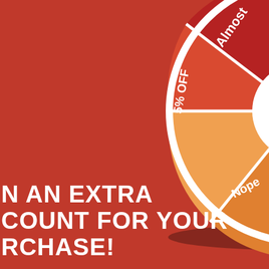[Figure (infographic): A spinning prize wheel / spin-to-win wheel partially visible, showing colored segments labeled: Almost, Not today, 5% OFF, 8% Off, Nope. The wheel has a red pointer/arrow on the right side. Set against a red background.]
[Figure (infographic): Right side panel in gray showing a shopping cart icon (outline) at top right, a circular shopping cart button with a red badge showing '0' in the middle right, and a search/input box at the bottom right.]
[Figure (illustration): Small diamond/gift icon in red tones at bottom left of the red panel.]
N AN EXTRA
COUNT FOR YOUR
RCHASE!